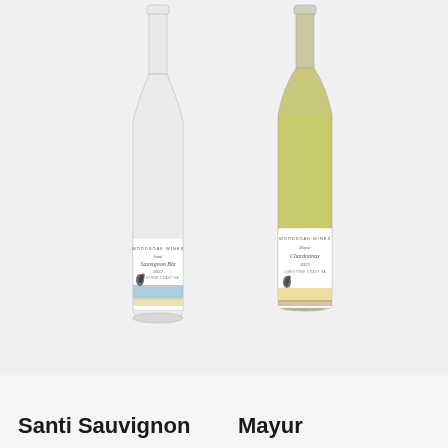[Figure (photo): Two wine bottles side by side. Left bottle: Woodsoak Wines Santi Sauvignon Blanc, clear glass bottle with white/blue label featuring a peacock. Right bottle: Woodsoak Wines Mayur Chardonnay, golden-yellow wine in bottle with cream/gold label featuring a peacock.]
Santi Sauvignon
Mayur